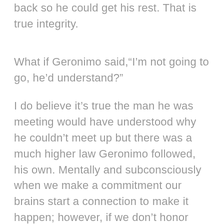back so he could get his rest. That is true integrity.
What if Geronimo said,“I’m not going to go, he’d understand?”
I do believe it’s true the man he was meeting would have understood why he couldn’t meet up but there was a much higher law Geronimo followed, his own. Mentally and subconsciously when we make a commitment our brains start a connection to make it happen; however, if we don’t honor that commitment our brains begin to create a new story such as, “Eh, he doesn’t really mean what he’s saying.”